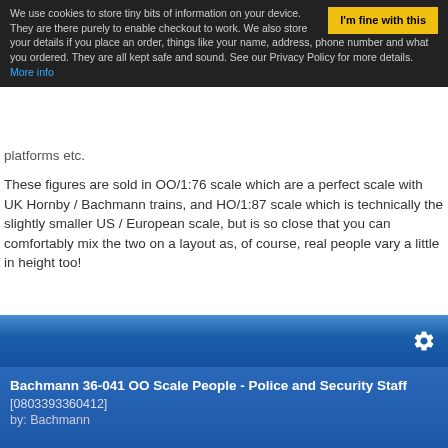We use cookies to store tiny bits of information on your device. They are there purely to enable checkout to work. We also store your details if you place an order, things like your name, address, phone number and what you ordered. They are all kept safe and sound. See our Privacy Policy for more details. More info
platforms etc.
These figures are sold in OO/1:76 scale which are a perfect scale with UK Hornby / Bachmann trains, and HO/1:87 scale which is technically the slightly smaller US / European scale, but is so close that you can comfortably mix the two on a layout as, of course, real people vary a little in height too!
[Figure (screenshot): Blue gradient toolbar with a gear/settings icon on the right]
Bachmann 36-041 OO Scale People - Police and Security Staff [0803393360412] by: Bachmann
[Figure (photo): Model railway figures of police and security staff in OO scale, showing 6 figures in various uniforms including high-visibility vests. Also shows a grey scroll-to-top button in bottom left.]